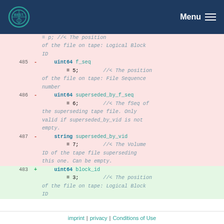Menu
[Figure (screenshot): Code diff view showing lines 485-487 deleted (pink background) and line 483 added (green background) with protobuf field definitions for uint64 f_seq, uint64 superseded_by_f_seq, string superseded_by_vid, and uint64 block_id]
imprint | privacy | Conditions of Use